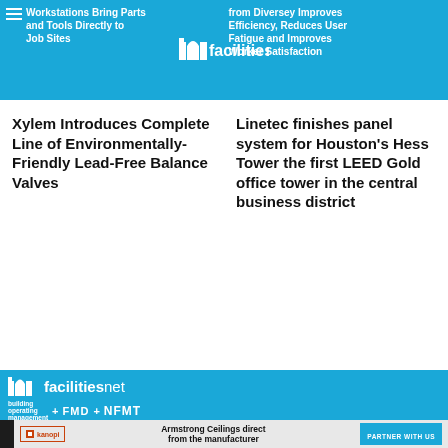Workstations Bring Parts and Tools Directly to Job Sites | from Diversey Improves Efficiency, Reduces User Fatigue and Improves Worker Satisfaction
[Figure (logo): facilitiesnet logo in center of top banner]
Xylem Introduces Complete Line of Environmentally-Friendly Lead-Free Balance Valves
Linetec finishes panel system for Houston's Hess Tower the first LEED Gold office tower in the central business district
[Figure (logo): facilitiesnet logo with building operating management + FMD + NFMT sub-brands on blue background]
[Figure (screenshot): Armstrong Ceilings advertisement: kanopi logo, text 'Armstrong Ceilings direct from the manufacturer', PARTNER WITH US button, photo of ceiling on right]